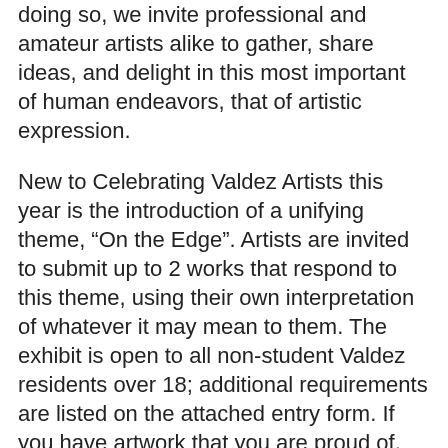doing so, we invite professional and amateur artists alike to gather, share ideas, and delight in this most important of human endeavors, that of artistic expression.
New to Celebrating Valdez Artists this year is the introduction of a unifying theme, “On the Edge”. Artists are invited to submit up to 2 works that respond to this theme, using their own interpretation of whatever it may mean to them. The exhibit is open to all non-student Valdez residents over 18; additional requirements are listed on the attached entry form. If you have artwork that you are proud of, please share it at the museum for the whole community to enjoy!
The exhibit runs September 12, 2015 through January 3, 2016. An opening